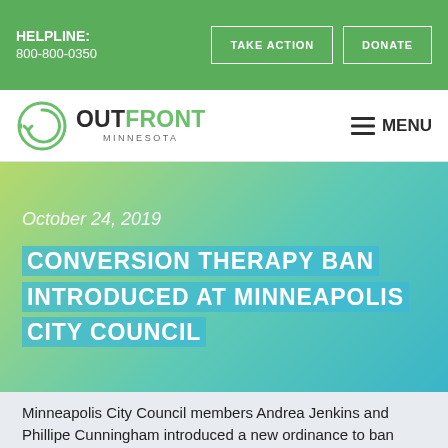HELPLINE: 800-800-0350 | TAKE ACTION | DONATE
[Figure (logo): OutFront Minnesota logo with green circle arrow icon]
October 24, 2019
CONVERSION THERAPY BAN INTRODUCED AT MINNEAPOLIS CITY COUNCIL
Minneapolis City Council members Andrea Jenkins and Phillipe Cunningham introduced a new ordinance to ban conversion therapy, the practice that aims to change a person's sexual orientation or gender identity in the city...